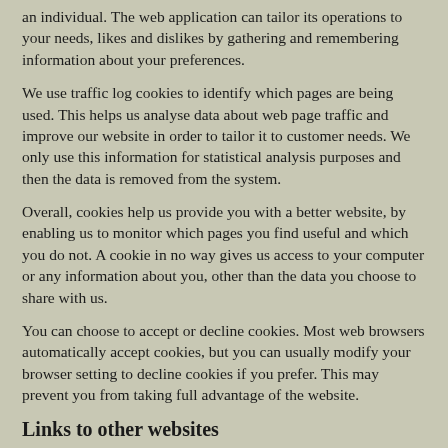an individual. The web application can tailor its operations to your needs, likes and dislikes by gathering and remembering information about your preferences.
We use traffic log cookies to identify which pages are being used. This helps us analyse data about web page traffic and improve our website in order to tailor it to customer needs. We only use this information for statistical analysis purposes and then the data is removed from the system.
Overall, cookies help us provide you with a better website, by enabling us to monitor which pages you find useful and which you do not. A cookie in no way gives us access to your computer or any information about you, other than the data you choose to share with us.
You can choose to accept or decline cookies. Most web browsers automatically accept cookies, but you can usually modify your browser setting to decline cookies if you prefer. This may prevent you from taking full advantage of the website.
Links to other websites